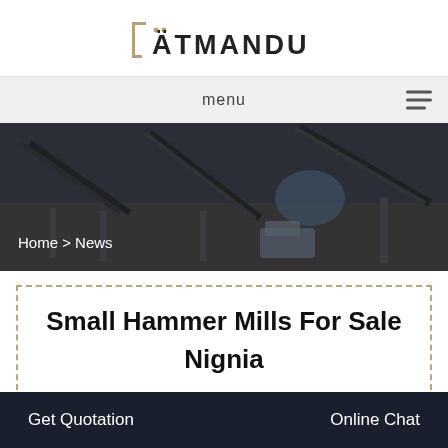ÄTMANDU
menu
[Figure (photo): Industrial mining/crushing equipment and conveyor belts at an outdoor facility, shown in dark overlay]
Home > News
Small Hammer Mills For Sale Nignia
Get Quotation    Online Chat